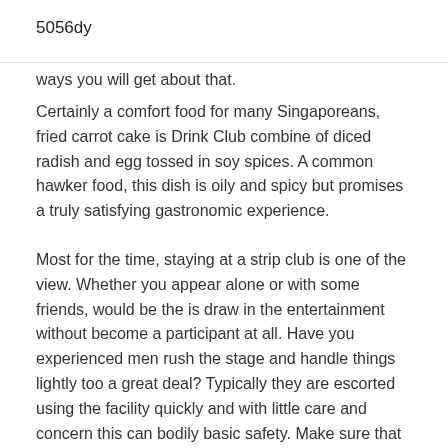5056dy
ways you will get about that.
Certainly a comfort food for many Singaporeans, fried carrot cake is Drink Club combine of diced radish and egg tossed in soy spices. A common hawker food, this dish is oily and spicy but promises a truly satisfying gastronomic experience.
Most for the time, staying at a strip club is one of the view. Whether you appear alone or with some friends, would be the is draw in the entertainment without become a participant at all. Have you experienced men rush the stage and handle things lightly too a great deal? Typically they are escorted using the facility quickly and with little care and concern this can bodily basic safety. Make sure that